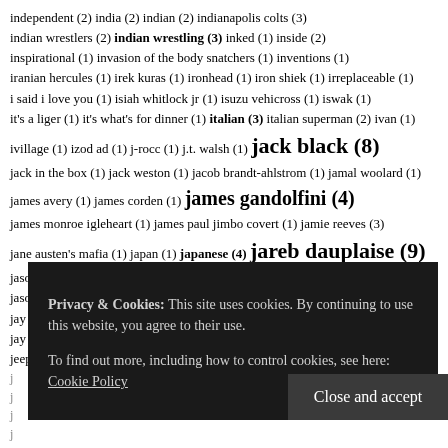independent (2) india (2) indian (2) indianapolis colts (3) indian wrestlers (2) indian wrestling (3) inked (1) inside (2) inspirational (1) invasion of the body snatchers (1) inventions (1) iranian hercules (1) irek kuras (1) ironhead (1) iron shiek (1) irreplaceable (1) i said i love you (1) isiah whitlock jr (1) isuzu vehicross (1) iswak (1) it's a liger (1) it's what's for dinner (1) italian (3) italian superman (2) ivan (1) ivillage (1) izod ad (1) j-rocc (1) j.t. walsh (1) jack black (8) jack in the box (1) jack weston (1) jacob brandt-ahlstrom (1) jamal woolard (1) james avery (1) james corden (1) james gandolfini (4) james monroe igleheart (1) james paul jimbo covert (1) jamie reeves (3) jane austen's mafia (1) japan (1) japanese (4) jareb dauplaise (9) jason alexander (1) jason bane (1) jason beebout (1) jason crystal (1) jason singleton (1) javier bardeem (1) jay@sf (1) jay boryea (1) jay hollywood hughes (2) jay hughes (2) jay leno (1) jay m boryea (1) jay o sanders (1) jay phillips (1) jealous squirrel (1) jean-marie paris (1) jeep swenson (1) jeff (1) jeff centauri (2) jeff mackay (2)
joe davison (1) joel coen (1) joell ortiz (1) joe molina (1) joe raposo (1)
Privacy & Cookies: This site uses cookies. By continuing to use this website, you agree to their use. To find out more, including how to control cookies, see here: Cookie Policy
Close and accept